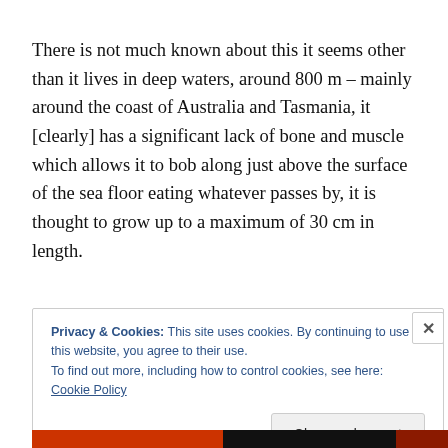There is not much known about this it seems other than it lives in deep waters, around 800 m – mainly around the coast of Australia and Tasmania, it [clearly] has a significant lack of bone and muscle which allows it to bob along just above the surface of the sea floor eating whatever passes by, it is thought to grow up to a maximum of 30 cm in length.
Privacy & Cookies: This site uses cookies. By continuing to use this website, you agree to their use.
To find out more, including how to control cookies, see here: Cookie Policy
Close and accept